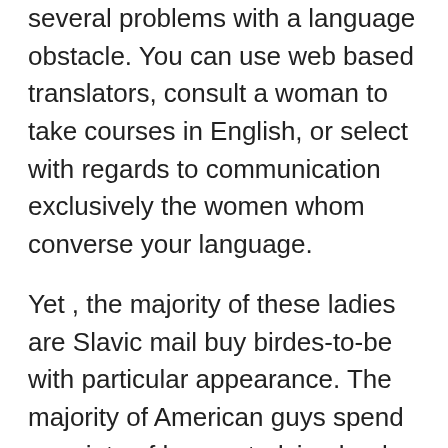several problems with a language obstacle. You can use web based translators, consult a woman to take courses in English, or select with regards to communication exclusively the women whom converse your language.
Yet , the majority of these ladies are Slavic mail buy birdes-to-be with particular appearance. The majority of American guys spend a variety of hours studying books to be able to hone their expertise for selecting up beautiful Romanian females. However , most of them by no means give it a lot believed as to the choice strategy and interact with these kinds of beautiful females.